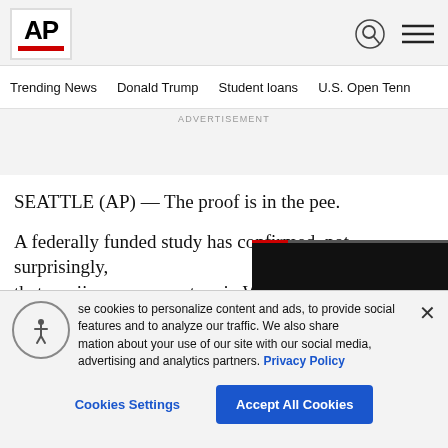AP
Trending News  Donald Trump  Student loans  U.S. Open Tenn
ADVERTISEMENT
SEATTLE (AP) — The proof is in the pee.
A federally funded study has confirmed, not surprisingly, that marijuana use went up in Was
se cookies to personalize content and ads, to provide social features and to analyze our traffic. We also share mation about your use of our site with our social media, advertising and analytics partners. Privacy Policy
Cookies Settings   Accept All Cookies